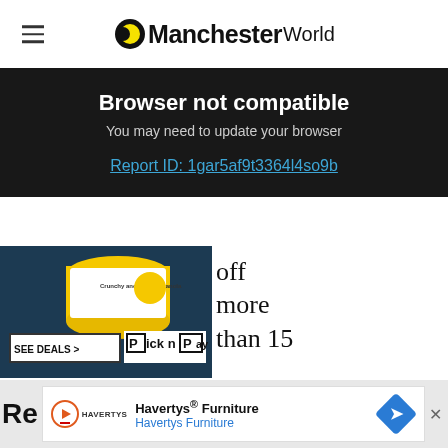Manchester World
Browser not compatible
You may need to update your browser
Report ID: 1gar5af9t3364l4so9b
[Figure (photo): Pick n Pay advertisement with granola can and SEE DEALS button]
off more than 15 minutes late, while a cancelled flight is one which was called off within 24 hours of the scheduled departure time.
[Figure (photo): Havertys Furniture advertisement banner at bottom of page]